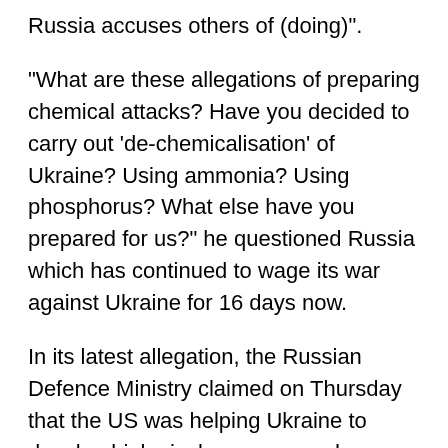Russia accuses others of (doing)”.
“What are these allegations of preparing chemical attacks? Have you decided to carry out ‘de-chemicalisation’ of Ukraine? Using ammonia? Using phosphorus? What else have you prepared for us?” he questioned Russia which has continued to wage its war against Ukraine for 16 days now.
In its latest allegation, the Russian Defence Ministry claimed on Thursday that the US was helping Ukraine to develop biological weapons and use virus-carrying birds that migrate through Russia, the BBC reported.
The Ministry, however did not provide any evidence to support the claim.
Earlier, Russia had claimed that more than 30 laboratories in